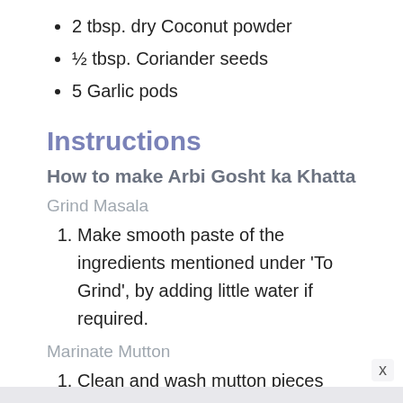2 tbsp. dry Coconut powder
½ tbsp. Coriander seeds
5 Garlic pods
Instructions
How to make Arbi Gosht ka Khatta
Grind Masala
Make smooth paste of the ingredients mentioned under 'To Grind', by adding little water if required.
Marinate Mutton
Clean and wash mutton pieces